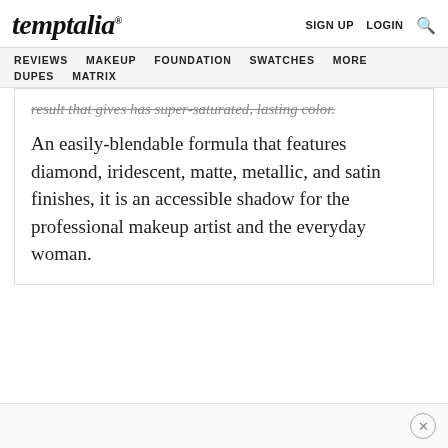temptalia® | SIGN UP | LOGIN | Search
REVIEWS | MAKEUP | FOUNDATION | SWATCHES | MORE | DUPES | MATRIX
result that gives has super-saturated, lasting color.
An easily-blendable formula that features diamond, iridescent, matte, metallic, and satin finishes, it is an accessible shadow for the professional makeup artist and the everyday woman.